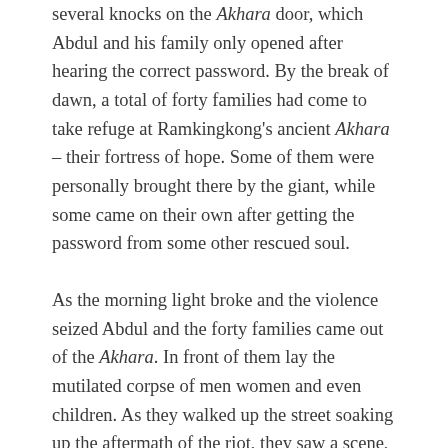several knocks on the Akhara door, which Abdul and his family only opened after hearing the correct password. By the break of dawn, a total of forty families had come to take refuge at Ramkingkong's ancient Akhara – their fortress of hope. Some of them were personally brought there by the giant, while some came on their own after getting the password from some other rescued soul.
As the morning light broke and the violence seized Abdul and the forty families came out of the Akhara. In front of them lay the mutilated corpse of men women and even children. As they walked up the street soaking up the aftermath of the riot, they saw a scene, which brought tears in their eyes and many of them fell on their knees covering their sobs with the palm of